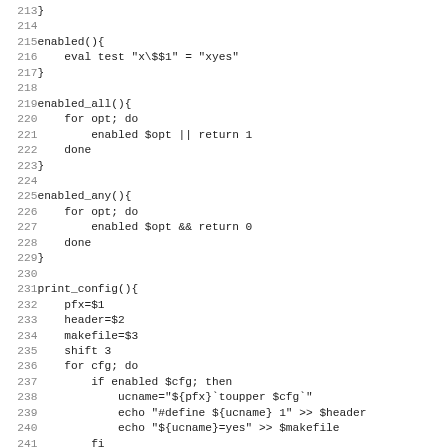Shell script source code lines 213-244, showing functions: enabled(), enabled_all(), enabled_any(), and print_config()